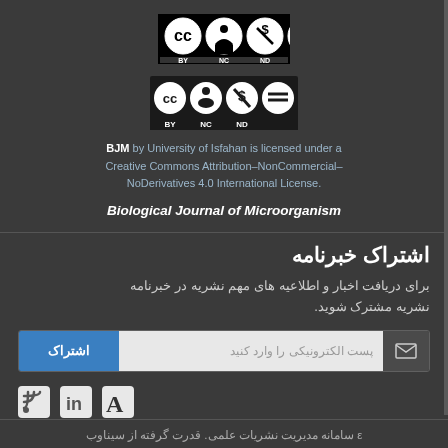[Figure (logo): Creative Commons BY-NC-ND license badge showing CC, person, dollar-sign-crossed, and equals icons in black and white]
BJM by University of Isfahan is licensed under a Creative Commons Attribution–NonCommercial–NoDerivatives 4.0 International License.
Biological Journal of Microorganism
اشتراک خبرنامه
برای دریافت اخبار و اطلاعیه های مهم نشریه در خبرنامه نشریه مشترک شوید.
[Figure (other): Newsletter subscription form with blue subscribe button on right, email input field, and envelope icon on left]
[Figure (other): Social media icons: RSS feed, LinkedIn, and font/Academia icon]
ε سامانه مدیریت نشریات علمی. قدرت گرفته از سیناوب